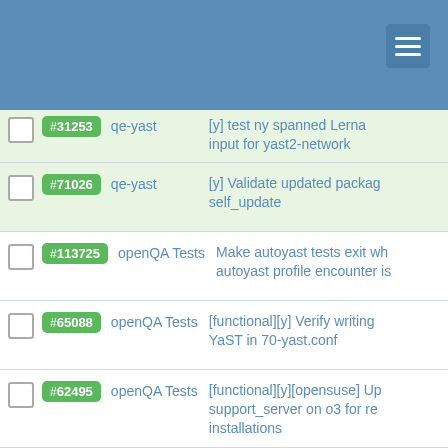#71026 qe-yast [y] Validate updated package self_update
#113725 openQA Tests Make autoyast tests exit when autoyast profile encounter is
#65088 openQA Tests [functional][y] Verify writing YaST in 70-yast.conf
#62495 openQA Tests [functional][y][opensuse] Update support_server on o3 for re installations
#49697 openQA Project [Bug] Needle panel shows i matches
#59061 openQA Tests test fails in installation
#64165 openQA Tests [functional][y][periodic] test